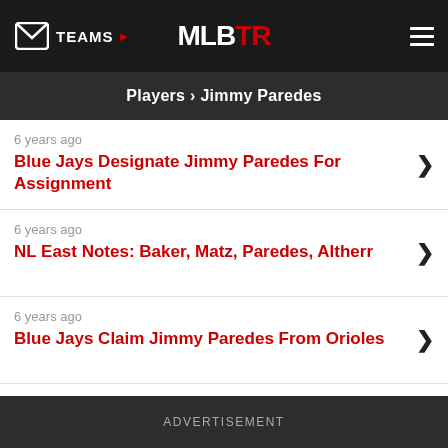TEAMS ▶  MLBTR
Players › Jimmy Paredes
6 years ago
Blue Jays Designate Jimmy Paredes For Assignment
6 years ago
NL East Notes: Baker, Matz, Paredes, Altherr
6 years ago
Blue Jays Claim Jimmy Paredes From Orioles
6 years ago
Orioles Place Jimmy Paredes On Waivers
ADVERTISEMENT